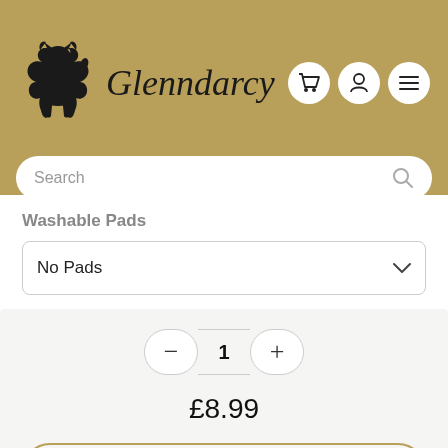[Figure (logo): Glenndarcy brand header with dog silhouette logo, brand name in italic, and navigation icons (cart, user, menu) on gold/tan background with search bar]
Washable Pads
No Pads
1
£8.99
Add to Cart